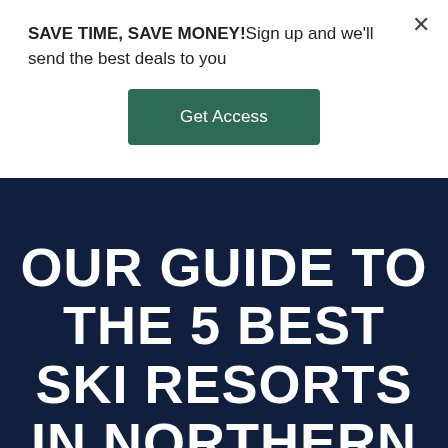SAVE TIME, SAVE MONEY!Sign up and we'll send the best deals to you
Get Access
OUR GUIDE TO THE 5 BEST SKI RESORTS IN NORTHERN COLORADO